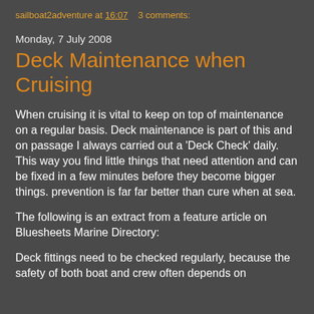sailboat2adventure at 16:07   3 comments:
Monday, 7 July 2008
Deck Maintenance when Cruising
When cruising it is vital to keep on top of maintenance on a regular basis. Deck maintenance is part of this and on passage I always carried out a 'Deck Check' daily. This way you find little things that need attention and can be fixed in a few minutes before they become bigger things. prevention is far far better than cure when at sea.
The following is an extract from a feature article on Bluesheets Marine Directory:
Deck fittings need to be checked regularly, because the safety of both boat and crew often depends on